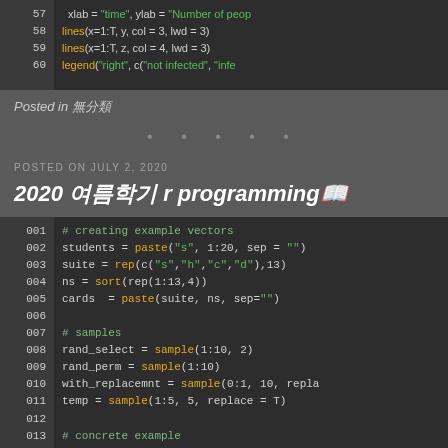[Figure (screenshot): Code block showing R programming lines 57-60 with xlab, lines, lines, legend commands on dark background]
Posted in 무분류
• • • • •
POSTED ON JULY 2, 2020
2020 여름학기 r programming공
[Figure (screenshot): R programming code block lines 001-016 showing example vectors, samples, rand_select, rand_perm, with_replacemnt, temp, and concrete example/random selection sections on dark background]